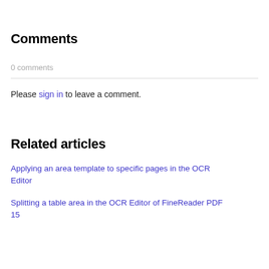Comments
0 comments
Please sign in to leave a comment.
Related articles
Applying an area template to specific pages in the OCR Editor
Splitting a table area in the OCR Editor of FineReader PDF 15